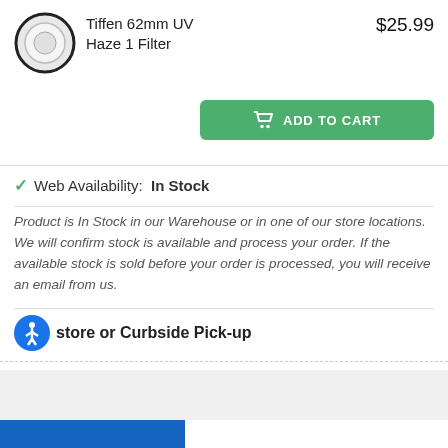[Figure (illustration): Circular camera lens filter product image — Tiffen 62mm UV Haze 1 Filter shown as a round gray lens filter with black rim]
Tiffen 62mm UV Haze 1 Filter
$25.99
ADD TO CART
Web Availability: ✓ In Stock
Product is In Stock in our Warehouse or in one of our store locations. We will confirm stock is available and process your order. If the available stock is sold before your order is processed, you will receive an email from us.
store or Curbside Pick-up
Available in Ottawa
Available in Toronto